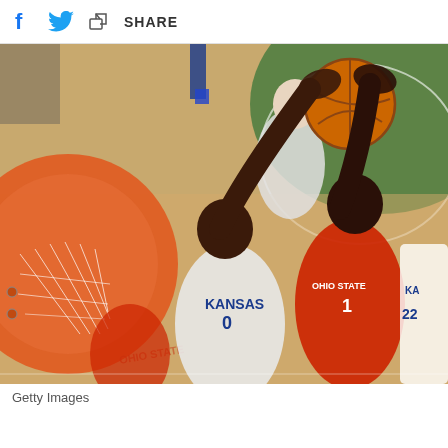f [twitter bird] [share icon] SHARE
[Figure (photo): Overhead/bird's-eye view of a basketball game between Kansas (white jersey, #0) and Ohio State (red jersey, #1) battling for a rebound near the basket. An orange basketball hoop and net are visible in the lower left. Multiple players are visible on a hardwood court with green paint markings.]
Getty Images